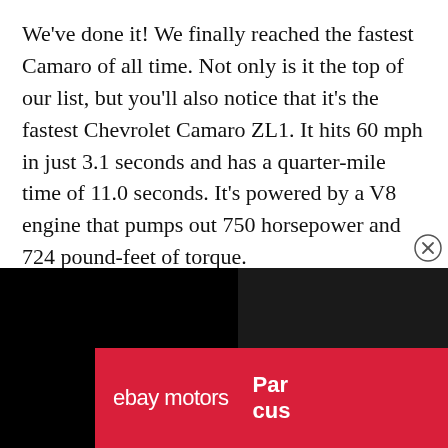We've done it! We finally reached the fastest Camaro of all time. Not only is it the top of our list, but you'll also notice that it's the fastest Chevrolet Camaro ZL1. It hits 60 mph in just 3.1 seconds and has a quarter-mile time of 11.0 seconds. It's powered by a V8 engine that pumps out 750 horsepower and 724 pound-feet of torque.
This car was made with a six-speed manual transmission. It also hit 70 mph in less than 160 feet. If you've alwa...
[Figure (other): Partial overlay at bottom of page showing a black background with a red eBay Motors advertisement banner. The red banner shows 'ebay motors' in white text on the left and partially visible text 'Par' and 'cus' on the right. A dark popup overlay partially covers lower right content. A circular close button (X) appears near the top right of the dark overlay.]